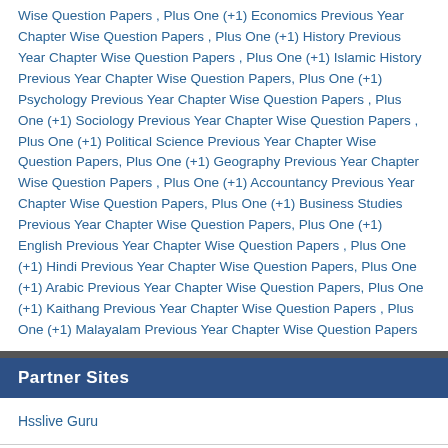Wise Question Papers , Plus One (+1) Economics Previous Year Chapter Wise Question Papers , Plus One (+1) History Previous Year Chapter Wise Question Papers , Plus One (+1) Islamic History Previous Year Chapter Wise Question Papers, Plus One (+1) Psychology Previous Year Chapter Wise Question Papers , Plus One (+1) Sociology Previous Year Chapter Wise Question Papers , Plus One (+1) Political Science Previous Year Chapter Wise Question Papers, Plus One (+1) Geography Previous Year Chapter Wise Question Papers , Plus One (+1) Accountancy Previous Year Chapter Wise Question Papers, Plus One (+1) Business Studies Previous Year Chapter Wise Question Papers, Plus One (+1) English Previous Year Chapter Wise Question Papers , Plus One (+1) Hindi Previous Year Chapter Wise Question Papers, Plus One (+1) Arabic Previous Year Chapter Wise Question Papers, Plus One (+1) Kaithang Previous Year Chapter Wise Question Papers , Plus One (+1) Malayalam Previous Year Chapter Wise Question Papers
Partner Sites
Hsslive Guru
Teacher Text
Sheni Blog